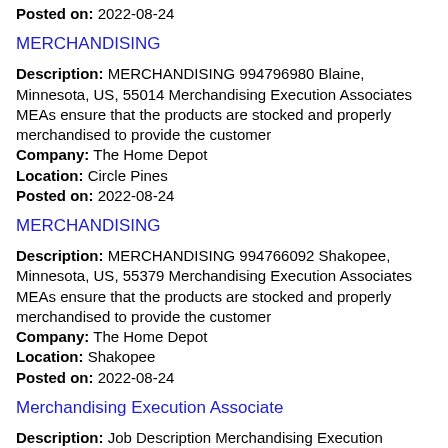Posted on: 2022-08-24
MERCHANDISING
Description: MERCHANDISING 994796980 Blaine, Minnesota, US, 55014 Merchandising Execution Associates MEAs ensure that the products are stocked and properly merchandised to provide the customer
Company: The Home Depot
Location: Circle Pines
Posted on: 2022-08-24
MERCHANDISING
Description: MERCHANDISING 994766092 Shakopee, Minnesota, US, 55379 Merchandising Execution Associates MEAs ensure that the products are stocked and properly merchandised to provide the customer
Company: The Home Depot
Location: Shakopee
Posted on: 2022-08-24
Merchandising Execution Associate
Description: Job Description Merchandising Execution Associates MEAs ensure that the products are stocked and properly merchandised to provide the customer the best possible shopping experience while always
Company: The Home Depot
Location: Becker